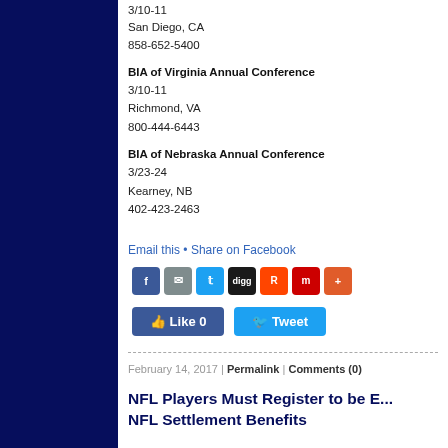3/10-11
San Diego, CA
858-652-5400
BIA of Virginia Annual Conference
3/10-11
Richmond, VA
800-444-6443
BIA of Nebraska Annual Conference
3/23-24
Kearney, NB
402-423-2463
Email this • Share on Facebook
[Figure (infographic): Social share icon buttons: Facebook, Mail, Twitter, Digg, Reddit, Mix, Plus]
[Figure (infographic): Like and Tweet social buttons]
February 14, 2017 | Permalink | Comments (0)
NFL Players Must Register to be B... NFL Settlement Benefits